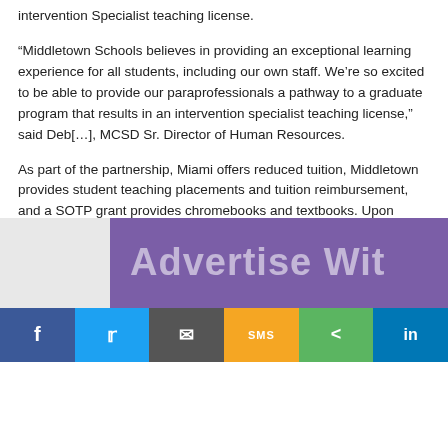intervention Specialist teaching license.
“Middletown Schools believes in providing an exceptional learning experience for all students, including our own staff. We’re so excited to be able to provide our paraprofessionals a pathway to a graduate program that results in an intervention specialist teaching license,” said Deb[...], MCSD Sr. Director of Human Resources.
As part of the partnership, Miami offers reduced tuition, Middletown provides student teaching placements and tuition reimbursement, and a SOTP grant provides chromebooks and textbooks. Upon completing the program, MCSD will employ these graduates as interventional specialists in the district.
The MCSD HR Department knew the reason many paraprofessionals [...] student-teaching portion of the licensure. Traditionally, student [...] the SOTP program, MCSD ensures its employees will student [...]
[Figure (other): Purple advertisement banner with text 'Advertise Wit[h Us]' partially visible, alongside a gray panel on the left]
[Figure (other): Social media sharing bar with Facebook, Twitter, Email, SMS, Share, and LinkedIn buttons]